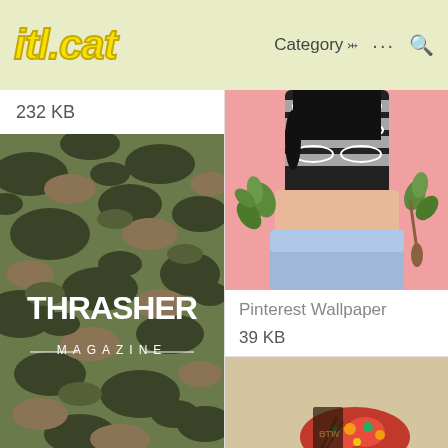itl.cat  Category  ...  🔍
232 KB
[Figure (illustration): Thrasher Magazine logo on camouflage background wallpaper]
[Figure (illustration): Cartoon skeleton figure holding flowers on pink background - Pinterest wallpaper]
Pinterest Wallpaper
39 KB
[Figure (illustration): Partial illustration on beige/tan background, bottom of page]